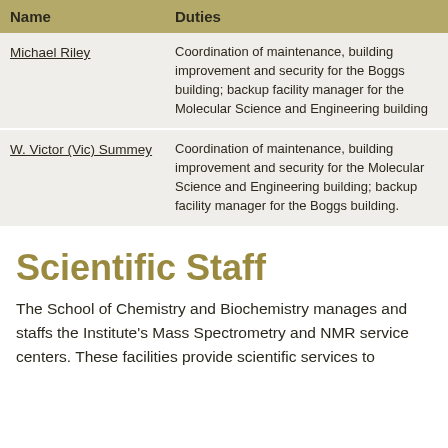| Name | Duties |
| --- | --- |
| Michael Riley | Coordination of maintenance, building improvement and security for the Boggs building; backup facility manager for the Molecular Science and Engineering building |
| W. Victor (Vic) Summey | Coordination of maintenance, building improvement and security for the Molecular Science and Engineering building; backup facility manager for the Boggs building. |
Scientific Staff
The School of Chemistry and Biochemistry manages and staffs the Institute's Mass Spectrometry and NMR service centers. These facilities provide scientific services to